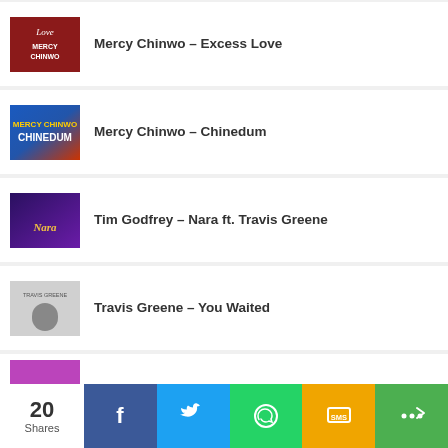Mercy Chinwo – Excess Love
Mercy Chinwo – Chinedum
Tim Godfrey – Nara ft. Travis Greene
Travis Greene – You Waited
(partial fifth item)
20 Shares  [Facebook] [Twitter] [WhatsApp] [SMS] [Share]